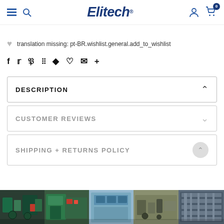Elitech® — navigation header with menu, search, user, and cart icons
translation missing: pt-BR.wishlist.general.add_to_wishlist
Social share icons: f  (Twitter)  (Pinterest)  (Grid)  (Bookmark)  (Heart)  (Email)  +
DESCRIPTION
CUSTOMER REVIEWS
SHIPPING + RETURNS POLICY
[Figure (photo): Bottom banner strip with industrial/machinery images: green engine, HVAC unit, blue tarp/tent, car exhaust pipes, warehouse shelving]